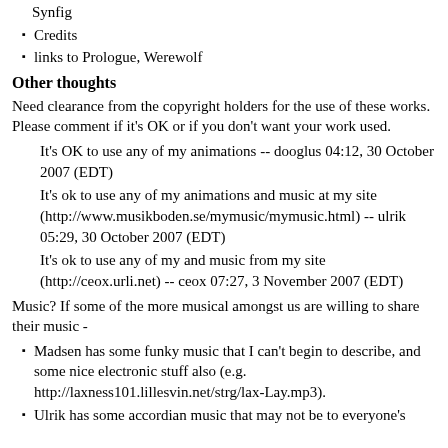Synfig
Credits
links to Prologue, Werewolf
Other thoughts
Need clearance from the copyright holders for the use of these works. Please comment if it's OK or if you don't want your work used.
It's OK to use any of my animations -- dooglus 04:12, 30 October 2007 (EDT)
It's ok to use any of my animations and music at my site (http://www.musikboden.se/mymusic/mymusic.html) -- ulrik 05:29, 30 October 2007 (EDT)
It's ok to use any of my and music from my site (http://ceox.urli.net) -- ceox 07:27, 3 November 2007 (EDT)
Music? If some of the more musical amongst us are willing to share their music -
Madsen has some funky music that I can't begin to describe, and some nice electronic stuff also (e.g. http://laxness101.lillesvin.net/strg/lax-Lay.mp3).
Ulrik has some accordian music that may not be to everyone's